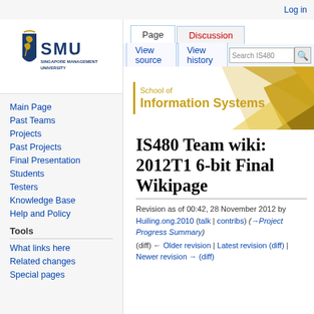Log in
[Figure (logo): SMU Singapore Management University logo with shield icon]
Main Page
Past Teams
Projects
Past Projects
Final Presentation
Students
Testers
Knowledge Base
Help and Policy
Tools
What links here
Related changes
Special pages
[Figure (logo): School of Information Systems banner with gold triangular geometric decoration]
IS480 Team wiki: 2012T1 6-bit Final Wikipage
Revision as of 00:42, 28 November 2012 by Huiling.ong.2010 (talk | contribs) (→Project Progress Summary)
(diff) ← Older revision | Latest revision (diff) | Newer revision → (diff)